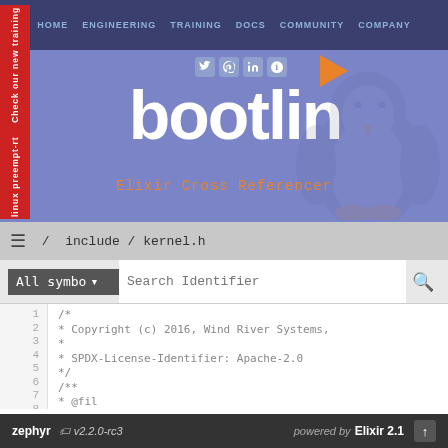[Figure (screenshot): Bootlin website header with navigation bar (HOME, ENGINEERING, TRAINING, DOCS, COMMUNITY, COMPANY), red sidebar label 'linux preempt-rt / Check our new training course', bootlin logo in white on blue/purple background, social media icons, orange arrow, Tux penguin silhouette, and 'Elixir Cross Referencer' subtitle in orange monospace font]
/ include / kernel.h
All symbo ▾  |Search Identifier 🔍
1   /*
2    * Copyright (c) 2016, Wind River Systems,
3    *
4    * SPDX-License-Identifier: Apache-2.0
5    */
6
7   /**
8    * @fil
zephyr 🏷 v2.2.0-rc3    powered by Elixir 2.1 ↑